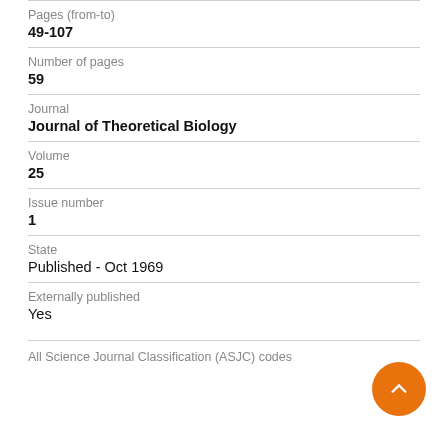Pages (from-to)
49-107
Number of pages
59
Journal
Journal of Theoretical Biology
Volume
25
Issue number
1
State
Published - Oct 1969
Externally published
Yes
All Science Journal Classification (ASJC) codes